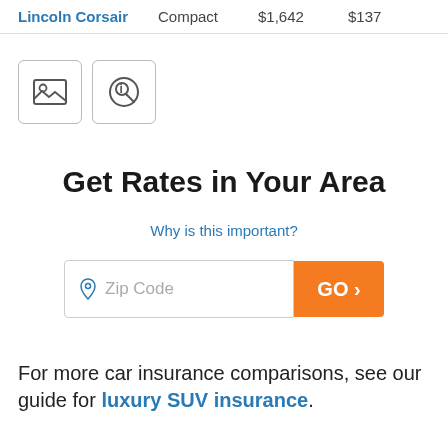| Lincoln Corsair | Compact | $1,642 | $137 |
[Figure (other): Two icon buttons: image icon and info/search icon]
Get Rates in Your Area
Why is this important?
[Figure (other): Zip Code input field with location pin icon and orange GO button with right arrow]
For more car insurance comparisons, see our guide for luxury SUV insurance.